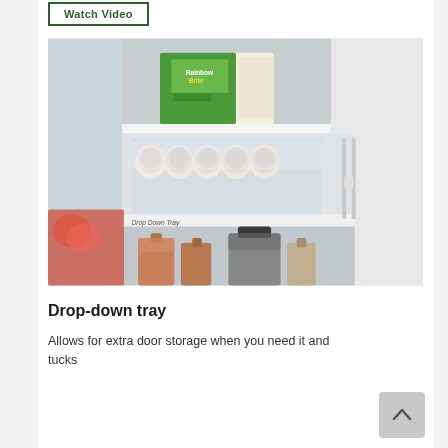[Figure (other): Button labeled 'Watch Video' with a rectangular border in dark green color]
[Figure (photo): Photograph of an open refrigerator door showing a drop-down tray feature with eggs in a plastic tray holder, food boxes on an upper shelf, and bottles below. A label on the tray reads 'Drop Down Tray'.]
Drop-down tray
Allows for extra door storage when you need it and tucks